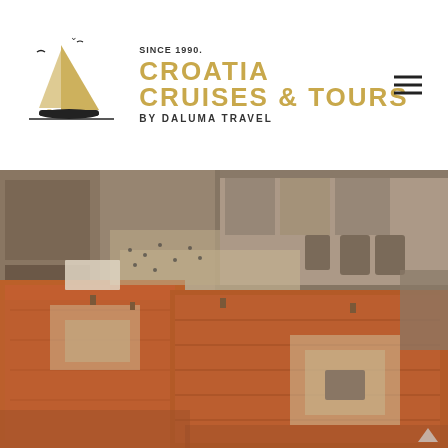[Figure (logo): Croatia Cruises & Tours by Daluma Travel logo with sailboat illustration, seagulls, and gold text. Since 1990.]
[Figure (photo): Aerial view of Dubrovnik old town showing terracotta rooftops, historic stone buildings, courtyards and streets with tourists visible.]